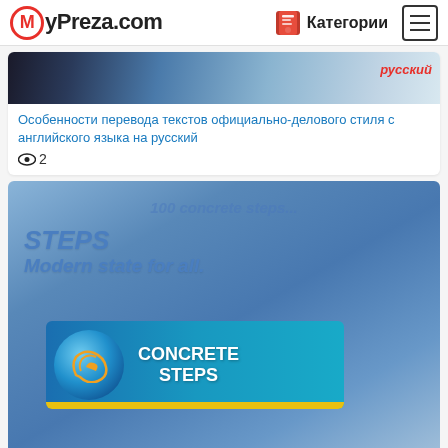MyPreza.com  Категории
[Figure (screenshot): Partial view of a presentation thumbnail with dark and blue design elements, with red italic text partially visible]
Особенности перевода текстов официально-делового стиля с английского языка на русский
👁 2
[Figure (screenshot): Presentation thumbnail with blue gradient background showing 'STEPS Modern state for all.' text in blue italic, and a banner graphic reading 'CONCRETE STEPS' with a circular logo and yellow stripe at bottom]